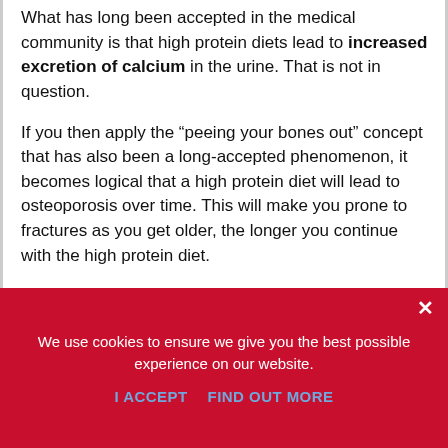What has long been accepted in the medical community is that high protein diets lead to increased excretion of calcium in the urine. That is not in question.

If you then apply the "peeing your bones out" concept that has also been a long-accepted phenomenon, it becomes logical that a high protein diet will lead to osteoporosis over time. This will make you prone to fractures as you get older, the longer you continue with the high protein diet.

But it isn't as straightforward as that.
We use cookies to ensure we give you the best possible experience on our website.
I ACCEPT    FIND OUT MORE